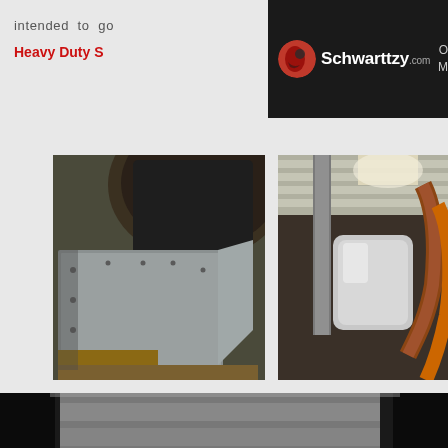intended to go... Heavy Duty S...
[Figure (photo): Schwarttzy.com navigation bar with logo on dark background and Open Menu text]
[Figure (photo): Underside/skid plate view of vehicle showing metal panel near wheel well]
[Figure (photo): Underside view of vehicle showing exhaust pipes and cylindrical components]
[Figure (photo): Underside/side view of vehicle from exterior showing skid plates and wheels]
[Figure (photo): Wide underside view of vehicle showing full skid plate and chassis components from below]